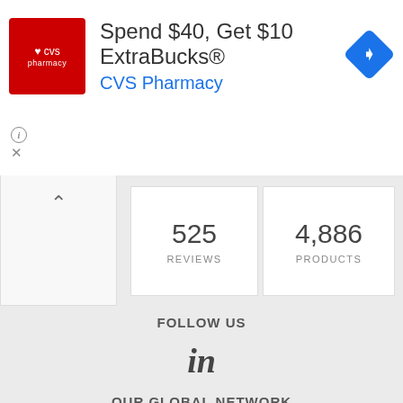[Figure (screenshot): CVS Pharmacy advertisement banner. Red CVS pharmacy logo on left. Text reads 'Spend $40, Get $10 ExtraBucks®' with 'CVS Pharmacy' in blue below. Blue diamond navigation arrow on right. Info icon and X close button at bottom left.]
525
REVIEWS
4,886
PRODUCTS
FOLLOW US
[Figure (logo): LinkedIn 'in' icon]
OUR GLOBAL NETWORK
Companies in Philippines
Companies in Malaysia
Companies in Pakistan
See All →